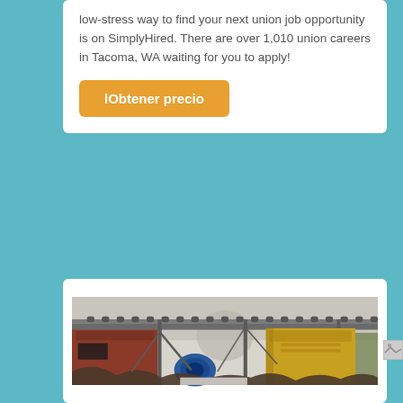low-stress way to find your next union job opportunity is on SimplyHired. There are over 1,010 union careers in Tacoma, WA waiting for you to apply!
lObtener precio
[Figure (photo): Industrial site showing heavy equipment including a conveyor belt system, shipping containers, and metal machinery. A large yellow hopper/bin is visible alongside rusted metal structures and a blue machine component. Background shows overcast sky with some green trees.]